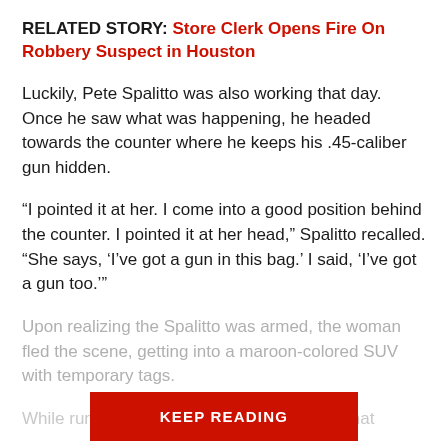RELATED STORY: Store Clerk Opens Fire On Robbery Suspect in Houston
Luckily, Pete Spalitto was also working that day. Once he saw what was happening, he headed towards the counter where he keeps his .45-caliber gun hidden.
“I pointed it at her. I come into a good position behind the counter. I pointed it at her head,” Spalitto recalled. “She says, ‘I’ve got a gun in this bag.’ I said, ‘I’ve got a gun too.’”
Upon realizing the Spalitto was armed, the woman fled the scene, getting into a maroon-colored SUV with temporary tags.
While running… d a bag that
KEEP READING